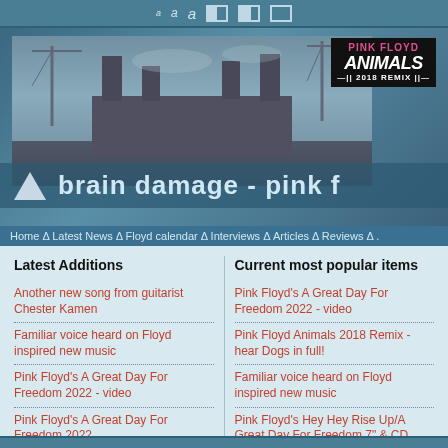a a a [toolbar icons]
[Figure (screenshot): Pink Floyd Animals 2018 Remix promotional banner with Battersea Power Station photo and site title 'brain damage - pink f']
Home Δ Latest News Δ Floyd calendar Δ Interviews Δ Articles Δ Reviews Δ .
Latest Additions
Another new song from guitarist Chester Kamen
Familiar voice heard on Floyd inspired new music
Pink Floyd's A Great Day For Freedom 2022 - video
Pink Floyd's A Great Day For Freedom 2022
Pink Floyd Animals 2018 Remix - hear Dogs in full!
Current most popular items
Pink Floyd's A Great Day For Freedom 2022 - video
Pink Floyd Animals 2018 Remix - hear Dogs in full!
Familiar voice heard on Floyd inspired new music
Pink Floyd's Hey Hey Rise Up/A Great Day For Freedom 7" & CD single out today
Pink Floyd's A Great Day For Freedom 2022